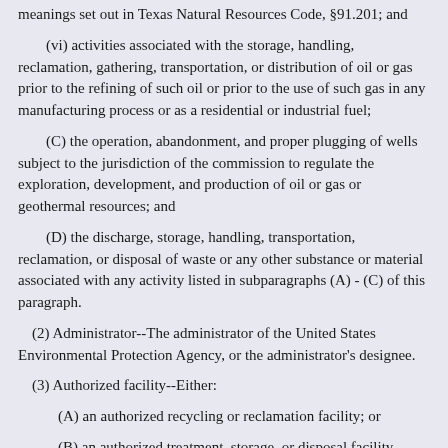meanings set out in Texas Natural Resources Code, §91.201; and
(vi) activities associated with the storage, handling, reclamation, gathering, transportation, or distribution of oil or gas prior to the refining of such oil or prior to the use of such gas in any manufacturing process or as a residential or industrial fuel;
(C) the operation, abandonment, and proper plugging of wells subject to the jurisdiction of the commission to regulate the exploration, development, and production of oil or gas or geothermal resources; and
(D) the discharge, storage, handling, transportation, reclamation, or disposal of waste or any other substance or material associated with any activity listed in subparagraphs (A) - (C) of this paragraph.
(2) Administrator--The administrator of the United States Environmental Protection Agency, or the administrator's designee.
(3) Authorized facility--Either:
(A) an authorized recycling or reclamation facility; or
(B) an authorized treatment, storage, or disposal facility.